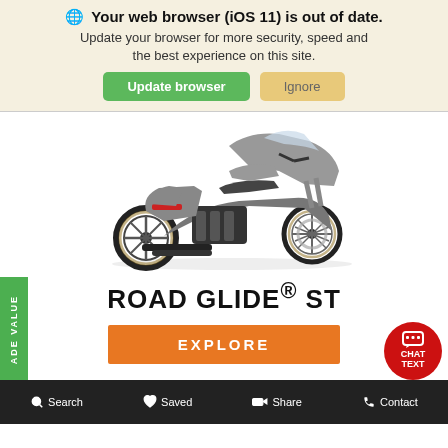🌐 Your web browser (iOS 11) is out of date. Update your browser for more security, speed and the best experience on this site.
Update browser
Ignore
[Figure (photo): Gray Harley-Davidson Road Glide ST motorcycle on white background, side profile view]
ROAD GLIDE® ST
EXPLORE
[Figure (photo): Partial view of another motorcycle at the bottom of the page]
TRADE VALUE
CHAT TEXT
Search   Saved   Share   Contact